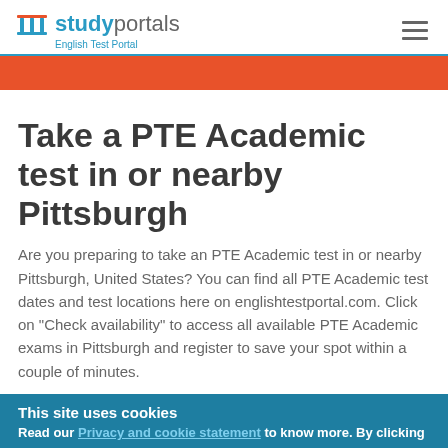studyportals English Test Portal
[Figure (logo): studyportals logo with pillars icon and 'English Test Portal' subtitle]
Take a PTE Academic test in or nearby Pittsburgh
Are you preparing to take an PTE Academic test in or nearby Pittsburgh, United States? You can find all PTE Academic test dates and test locations here on englishtestportal.com. Click on "Check availability" to access all available PTE Academic exams in Pittsburgh and register to save your spot within a couple of minutes.
This site uses cookies
Read our Privacy and cookie statement to know more. By clicking